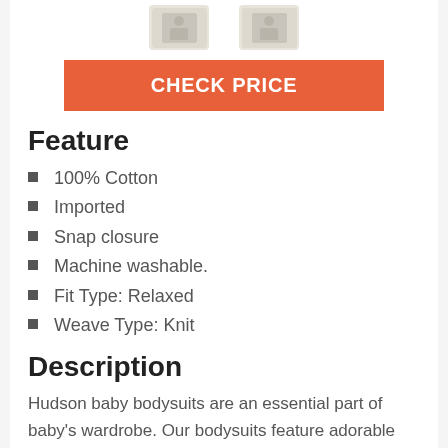[Figure (photo): Two white baby bodysuits partially visible at the top of the page]
CHECK PRICE
Feature
100% Cotton
Imported
Snap closure
Machine washable.
Fit Type: Relaxed
Weave Type: Knit
Description
Hudson baby bodysuits are an essential part of baby's wardrobe. Our bodysuits feature adorable prints, embroideries, stripes and solids and provide a comfortable